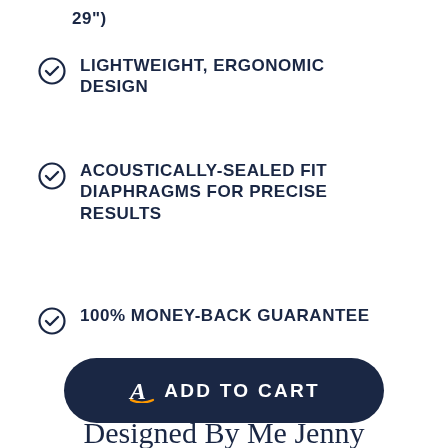29")
LIGHTWEIGHT, ERGONOMIC DESIGN
ACOUSTICALLY-SEALED FIT DIAPHRAGMS FOR PRECISE RESULTS
100% MONEY-BACK GUARANTEE
[Figure (other): Dark navy rounded button with Amazon logo and text 'ADD TO CART']
Designed By Me Jenny